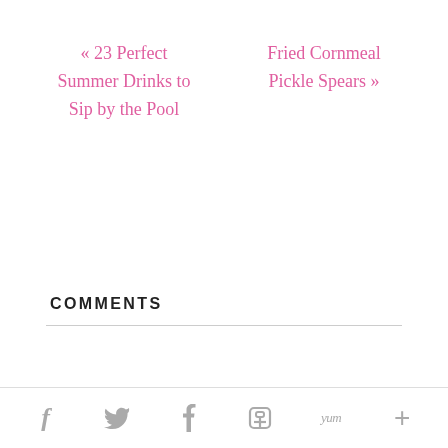« 23 Perfect Summer Drinks to Sip by the Pool
Fried Cornmeal Pickle Spears »
COMMENTS
f  Twitter  P  m  yum  +